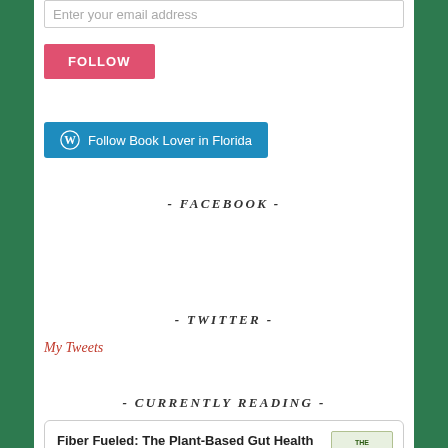Enter your email address
FOLLOW
Follow Book Lover in Florida
- FACEBOOK -
- TWITTER -
My Tweets
- CURRENTLY READING -
Fiber Fueled: The Plant-Based Gut Health Program for Losing Weight, Restoring Your Health, and Optimizing